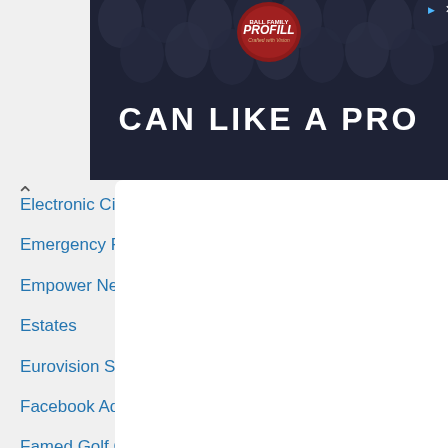[Figure (screenshot): Advertisement banner for PROFILL 'CAN LIKE A PRO' with dark background showing metal cans]
Electronic Cigarettes
Emergency Preparedness
Empower Network
Estates
Eurovision Song Contest
Facebook Ads Marketing
Famed Golf Courses
Feng Shui
Ferrets Cage
Fitness Equipment
Floating Lanterns